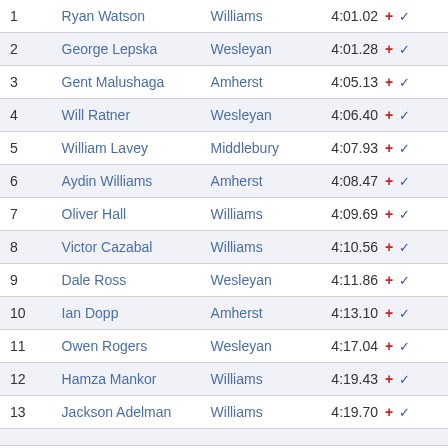| Rank | Name | School | Time |
| --- | --- | --- | --- |
| 1 | Ryan Watson | Williams | 4:01.02 + ✓ |
| 2 | George Lepska | Wesleyan | 4:01.28 + ✓ |
| 3 | Gent Malushaga | Amherst | 4:05.13 + ✓ |
| 4 | Will Ratner | Wesleyan | 4:06.40 + ✓ |
| 5 | William Lavey | Middlebury | 4:07.93 + ✓ |
| 6 | Aydin Williams | Amherst | 4:08.47 + ✓ |
| 7 | Oliver Hall | Williams | 4:09.69 + ✓ |
| 8 | Victor Cazabal | Williams | 4:10.56 + ✓ |
| 9 | Dale Ross | Wesleyan | 4:11.86 + ✓ |
| 10 | Ian Dopp | Amherst | 4:13.10 + ✓ |
| 11 | Owen Rogers | Wesleyan | 4:17.04 + ✓ |
| 12 | Hamza Mankor | Williams | 4:19.43 + ✓ |
| 13 | Jackson Adelman | Williams | 4:19.70 + ✓ |